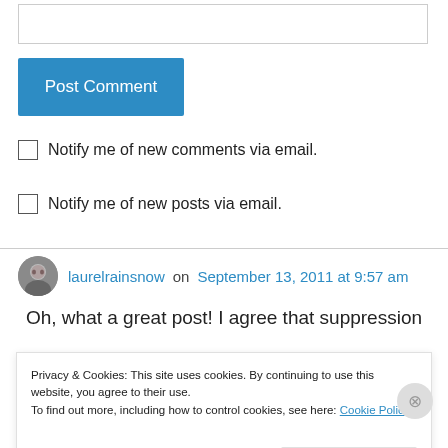[Figure (screenshot): Empty text input box at top of page]
Post Comment
Notify me of new comments via email.
Notify me of new posts via email.
laurelrainsnow on September 13, 2011 at 9:57 am
Oh, what a great post! I agree that suppression
Privacy & Cookies: This site uses cookies. By continuing to use this website, you agree to their use.
To find out more, including how to control cookies, see here: Cookie Policy
Close and accept